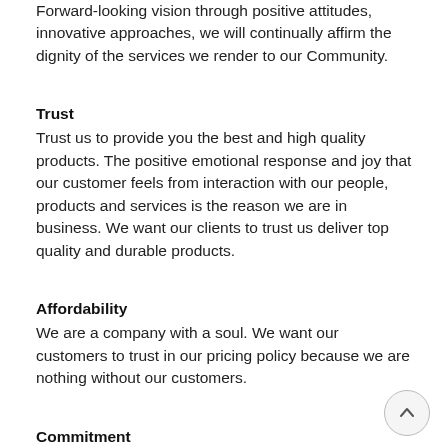Forward-looking vision through positive attitudes, innovative approaches, we will continually affirm the dignity of the services we render to our Community.
Trust
Trust us to provide you the best and high quality products. The positive emotional response and joy that our customer feels from interaction with our people, products and services is the reason we are in business. We want our clients to trust us deliver top quality and durable products.
Affordability
We are a company with a soul. We want our customers to trust in our pricing policy because we are nothing without our customers.
Commitment
We are committed to the needs and aspirations of the society. A sense of responsibility and contribution to society that defines our existence. We honour our commitment. We keep our promises.